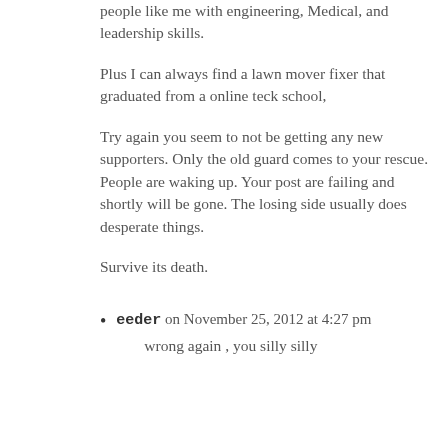people like me with engineering, Medical, and leadership skills.
Plus I can always find a lawn mover fixer that graduated from a online teck school,
Try again you seem to not be getting any new supporters. Only the old guard comes to your rescue. People are waking up. Your post are failing and shortly will be gone. The losing side usually does desperate things.
Survive its death.
eeder on November 25, 2012 at 4:27 pm
wrong again , you silly silly